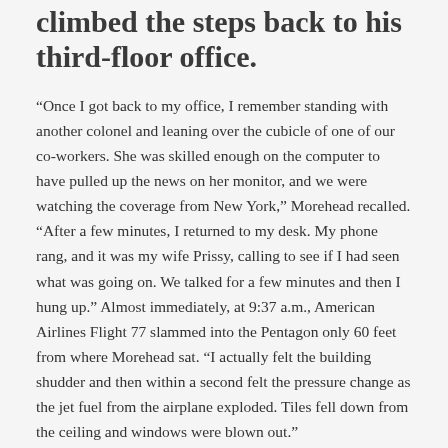climbed the steps back to his third-floor office.
“Once I got back to my office, I remember standing with another colonel and leaning over the cubicle of one of our co-workers. She was skilled enough on the computer to have pulled up the news on her monitor, and we were watching the coverage from New York,” Morehead recalled. “After a few minutes, I returned to my desk. My phone rang, and it was my wife Prissy, calling to see if I had seen what was going on. We talked for a few minutes and then I hung up.” Almost immediately, at 9:37 a.m., American Airlines Flight 77 slammed into the Pentagon only 60 feet from where Morehead sat. “I actually felt the building shudder and then within a second felt the pressure change as the jet fuel from the airplane exploded. Tiles fell down from the ceiling and windows were blown out.”
Morehead exited his office and stepped into Corridor 4, one of ten hallways laterally connecting the five rings of the